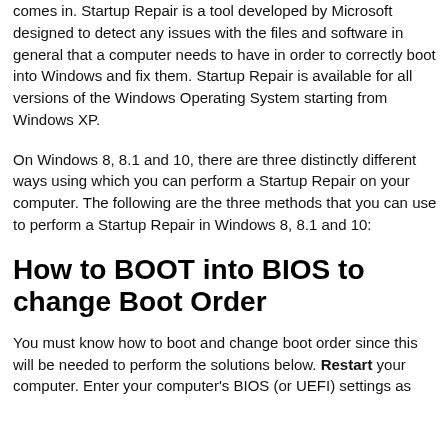comes in. Startup Repair is a tool developed by Microsoft designed to detect any issues with the files and software in general that a computer needs to have in order to correctly boot into Windows and fix them. Startup Repair is available for all versions of the Windows Operating System starting from Windows XP.
On Windows 8, 8.1 and 10, there are three distinctly different ways using which you can perform a Startup Repair on your computer. The following are the three methods that you can use to perform a Startup Repair in Windows 8, 8.1 and 10:
How to BOOT into BIOS to change Boot Order
You must know how to boot and change boot order since this will be needed to perform the solutions below. Restart your computer. Enter your computer's BIOS (or UEFI) settings as